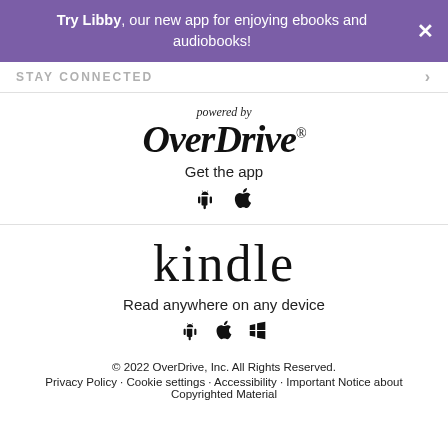Try Libby, our new app for enjoying ebooks and audiobooks!
STAY CONNECTED
[Figure (logo): OverDrive logo with 'powered by' text above and 'Get the app' text below with Android and Apple app store icons]
[Figure (logo): Kindle logo with 'Read anywhere on any device' text below and Android, Apple, and Windows icons]
© 2022 OverDrive, Inc. All Rights Reserved. Privacy Policy · Cookie settings · Accessibility · Important Notice about Copyrighted Material